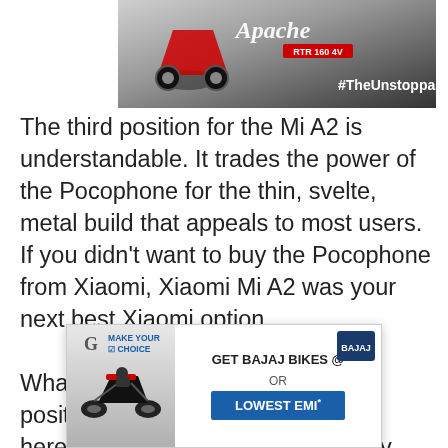[Figure (photo): Advertisement banner for Apache motorcycle with #TheUnstoppable hashtag, red and gray background with motorcycle image]
The third position for the Mi A2 is understandable. It trades the power of the Pocophone for the thin, svelte, metal build that appeals to most users. If you didn't want to buy the Pocophone from Xiaomi, Xiaomi Mi A2 was your next best Xiaomi option.

What bugs me is Oppo F9's sixth position. I myself tested this phone here at Techlekh and I was instantly enamored by this phone. The form factor of this phone fits perfectly in my palms. Th... new, and inter... but the phone was easy to use one handed. It could
[Figure (photo): Advertisement overlay for Bajaj bikes — GET BAJAJ BIKES @ or LOWEST EMI* with motorcycle image and logo]